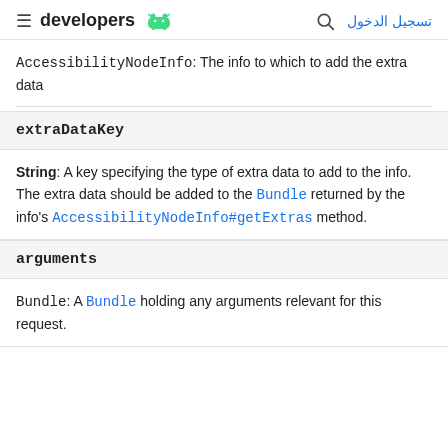developers [android logo] | [search] تسجيل الدخول
AccessibilityNodeInfo: The info to which to add the extra data
extraDataKey
String: A key specifying the type of extra data to add to the info. The extra data should be added to the Bundle returned by the info's AccessibilityNodeInfo#getExtras method.
arguments
Bundle: A Bundle holding any arguments relevant for this request.